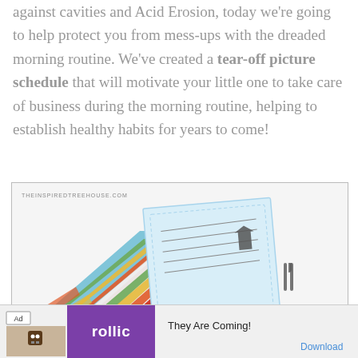against cavities and Acid Erosion, today we're going to help protect you from mess-ups with the dreaded morning routine. We've created a tear-off picture schedule that will motivate your little one to take care of business during the morning routine, helping to establish healthy habits for years to come!
[Figure (photo): Photo showing colorful tear-off picture schedule cards fanned out on a white surface, with orange, green, yellow, and blue striped patterns visible, along with illustrated icons of clothing and utensils. Watermark reads THEINSIREDTREEHOUSE.COM]
[Figure (screenshot): Ad bar at bottom: Ad badge, brown icon box with a bird/robot icon, purple box with 'rollic' text, and 'They Are Coming!' text with 'Download' link in blue.]